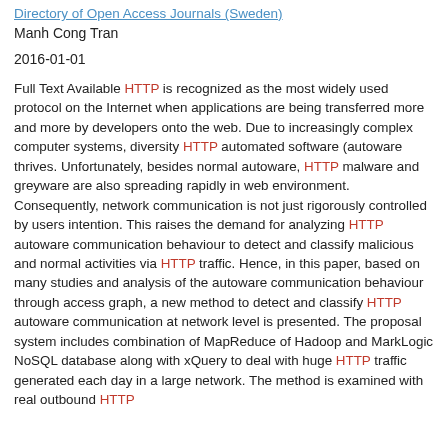Directory of Open Access Journals (Sweden)
Manh Cong Tran
2016-01-01
Full Text Available HTTP is recognized as the most widely used protocol on the Internet when applications are being transferred more and more by developers onto the web. Due to increasingly complex computer systems, diversity HTTP automated software (autoware thrives. Unfortunately, besides normal autoware, HTTP malware and greyware are also spreading rapidly in web environment. Consequently, network communication is not just rigorously controlled by users intention. This raises the demand for analyzing HTTP autoware communication behaviour to detect and classify malicious and normal activities via HTTP traffic. Hence, in this paper, based on many studies and analysis of the autoware communication behaviour through access graph, a new method to detect and classify HTTP autoware communication at network level is presented. The proposal system includes combination of MapReduce of Hadoop and MarkLogic NoSQL database along with xQuery to deal with huge HTTP traffic generated each day in a large network. The method is examined with real outbound HTTP